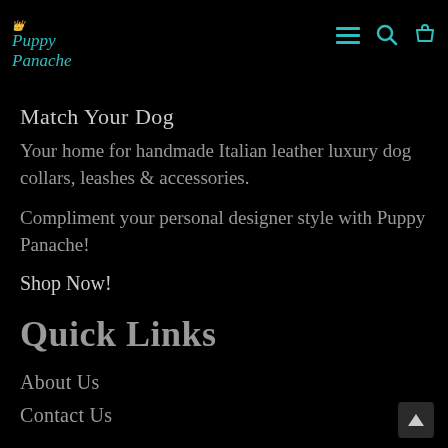Puppy Panache
Match Your Dog
Your home for handmade Italian leather luxury dog collars, leashes & accessories.
Compliment your personal designer style with Puppy Panache!
Shop Now!
Quick Links
About Us
Contact Us